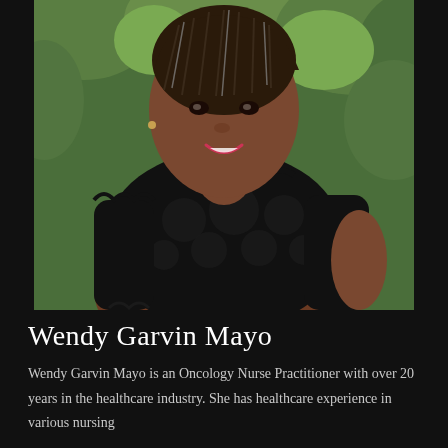[Figure (photo): Professional headshot of Wendy Garvin Mayo, a woman wearing a black lace short-sleeve top, smiling, with a green outdoor background.]
Wendy Garvin Mayo
Wendy Garvin Mayo is an Oncology Nurse Practitioner with over 20 years in the healthcare industry. She has healthcare experience in various nursing